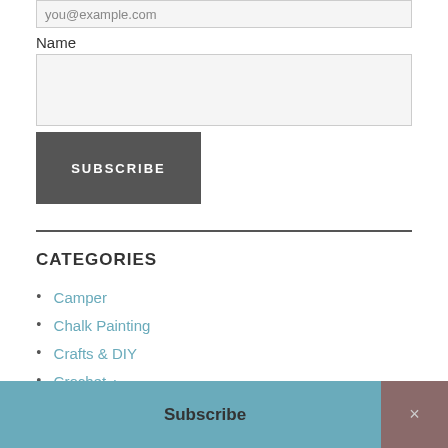you@example.com
Name
SUBSCRIBE
CATEGORIES
Camper
Chalk Painting
Crafts & DIY
Crochet
DIY Furniture
Subscribe
×